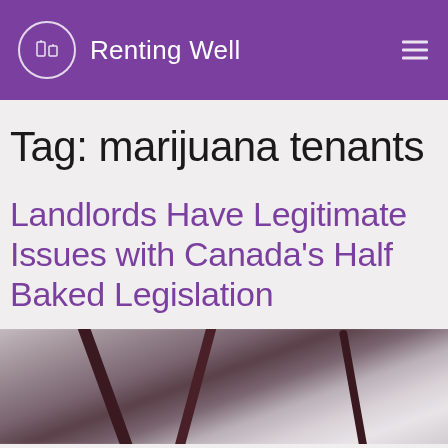Renting Well
Tag: marijuana tenants
Landlords Have Legitimate Issues with Canada’s Half Baked Legislation
[Figure (photo): Blurred background photo showing dark wooden furniture or table legs, light coloured background, out of focus]